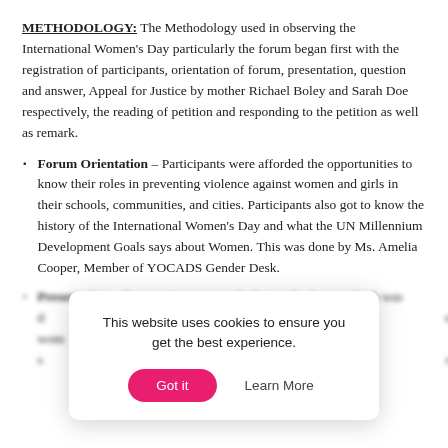METHODOLOGY: The Methodology used in observing the International Women's Day particularly the forum began first with the registration of participants, orientation of forum, presentation, question and answer, Appeal for Justice by mother Richael Boley and Sarah Doe respectively, the reading of petition and responding to the petition as well as remark.
Forum Orientation – Participants were afforded the opportunities to know their roles in preventing violence against women and girls in their schools, communities, and cities. Participants also got to know the history of the International Women's Day and what the UN Millennium Development Goals says about Women. This was done by Ms. Amelia Cooper, Member of YOCADS Gender Desk.
Presentation – Presentation was made during the forum which was d… ed on the t… st wom… ted the s… Deve… rs.